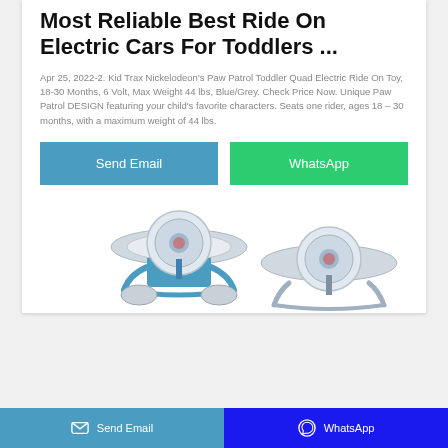Most Reliable Best Ride On Electric Cars For Toddlers ...
Apr 25, 2022-2. Kid Trax Nickelodeon's Paw Patrol Toddler Quad Electric Ride On Toy, 18-30 Months, 6 Volt, Max Weight 44 lbs, Blue/Grey. Check Price Now. Unique Paw Patrol DESIGN featuring your child's favorite characters. Seats one rider, ages 18 – 30 months, with a maximum weight of 44 lbs.
[Figure (other): Two blue and grey Paw Patrol themed ride-on toy cars for toddlers, partially visible at the bottom of the page]
Send Email | WhatsApp